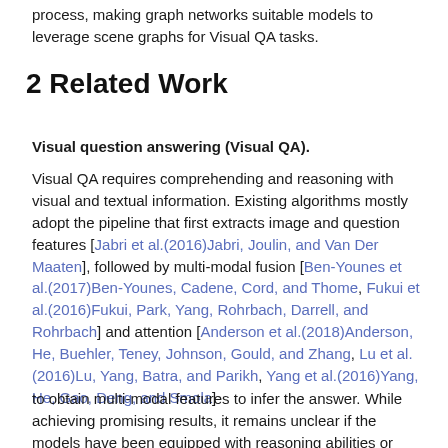process, making graph networks suitable models to leverage scene graphs for Visual QA tasks.
2 Related Work
Visual question answering (Visual QA).
Visual QA requires comprehending and reasoning with visual and textual information. Existing algorithms mostly adopt the pipeline that first extracts image and question features [Jabri et al.(2016)Jabri, Joulin, and Van Der Maaten], followed by multi-modal fusion [Ben-Younes et al.(2017)Ben-Younes, Cadene, Cord, and Thome, Fukui et al.(2016)Fukui, Park, Yang, Rohrbach, Darrell, and Rohrbach] and attention [Anderson et al.(2018)Anderson, He, Buehler, Teney, Johnson, Gould, and Zhang, Lu et al.(2016)Lu, Yang, Batra, and Parikh, Yang et al.(2016)Yang, He, Gao, Deng, and Smola]
to obtain multi-modal features to infer the answer. While achieving promising results, it remains unclear if the models have been equipped with reasoning abilities or